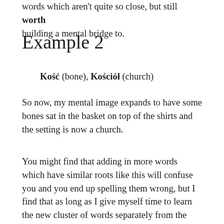words which aren't quite so close, but still worth building a mental bridge to.
Example 2
Kość (bone), Kościół (church)
So now, my mental image expands to have some bones sat in the basket on top of the shirts and the setting is now a church.
You might find that adding in more words which have similar roots like this will confuse you and you end up spelling them wrong, but I find that as long as I give myself time to learn the new cluster of words separately from the first group I don't have that problem.